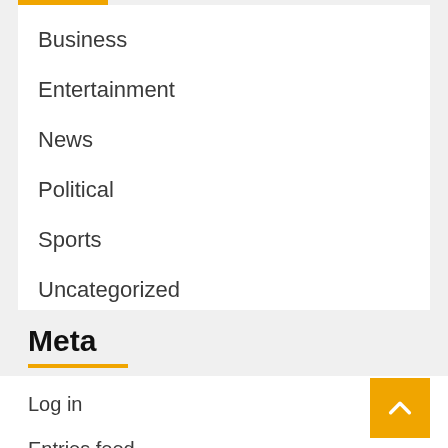Business
Entertainment
News
Political
Sports
Uncategorized
Meta
Log in
Entries feed
Comments feed